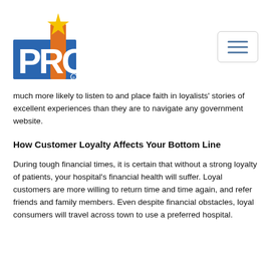[Figure (logo): PRC logo with blue letters P, R, C, an orange rectangle column, and a gold/yellow star on top]
much more likely to listen to and place faith in loyalists' stories of excellent experiences than they are to navigate any government website.
How Customer Loyalty Affects Your Bottom Line
During tough financial times, it is certain that without a strong loyalty of patients, your hospital's financial health will suffer. Loyal customers are more willing to return time and time again, and refer friends and family members. Even despite financial obstacles, loyal consumers will travel across town to use a preferred hospital.